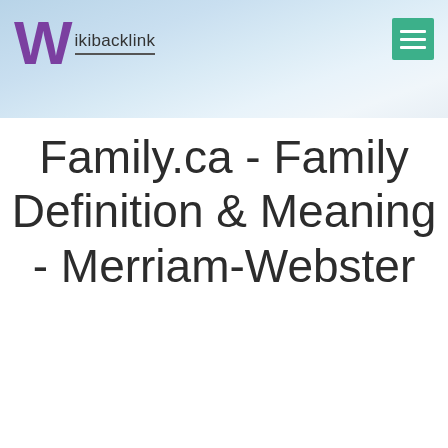Wikibacklink
Family.ca - Family Definition & Meaning - Merriam-Webster